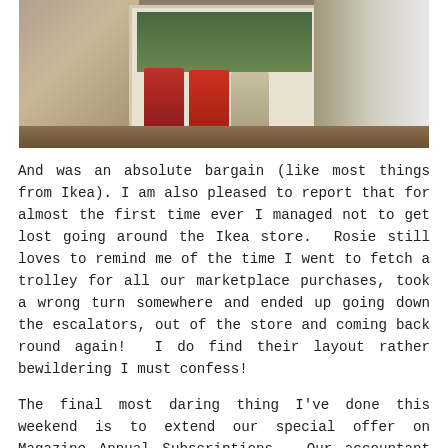[Figure (photo): Photo of a kitchen windowsill with herb plants growing in upcycled food tins (labelled 'abolitos', 'TUTTI', and another brand) placed in a white framed mirror or tray, with a white ceramic duck/whale ornament on the left and natural light coming through a window in the background.]
And was an absolute bargain (like most things from Ikea). I am also pleased to report that for almost the first time ever I managed not to get lost going around the Ikea store.  Rosie still loves to remind me of the time I went to fetch a trolley for all our marketplace purchases, took a wrong turn somewhere and ended up going down the escalators, out of the store and coming back round again!  I do find their layout rather bewildering I must confess!
The final most daring thing I've done this weekend is to extend our special offer on Magazine Annual Subscriptions.  Our accountant lady didn't think this was a good idea, but I do so love sharing.  (and she won't be back in her office till Monday so won't realise I've extended our best-ever offer haha!)  To find out more please just CLICK HERE to visit the annual subscription page.